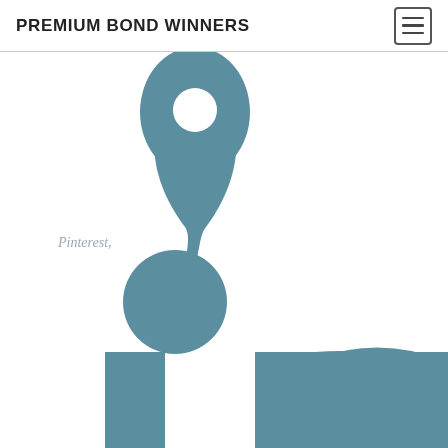PREMIUM BOND WINNERS
[Figure (logo): LinkedIn logo 'in' icon shown cropped and very large, with a partial Pinterest pin icon at the top, in steel blue color. The word 'Pinterest,' appears in italic gray text. The large LinkedIn 'in' text takes up the lower half of the image.]